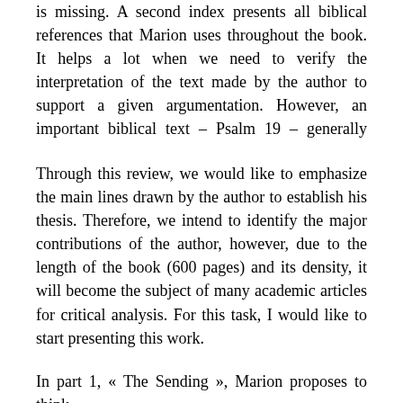is missing. A second index presents all biblical references that Marion uses throughout the book. It helps a lot when we need to verify the interpretation of the text made by the author to support a given argumentation. However, an important biblical text – Psalm 19 – generally present in discussions about revelation, does not appear in the book, unfortunately.
Through this review, we would like to emphasize the main lines drawn by the author to establish his thesis. Therefore, we intend to identify the major contributions of the author, however, due to the length of the book (600 pages) and its density, it will become the subject of many academic articles for critical analysis. For this task, I would like to start presenting this work.
In part 1, « The Sending », Marion proposes to think